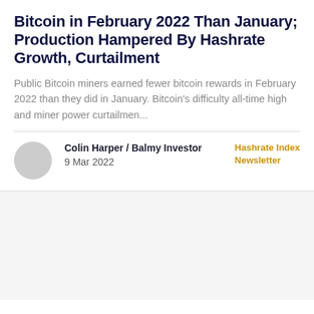Bitcoin in February 2022 Than January; Production Hampered By Hashrate Growth, Curtailment
Public Bitcoin miners earned fewer bitcoin rewards in February 2022 than they did in January. Bitcoin's difficulty all-time high and miner power curtailmen...
Colin Harper / Balmy Investor
9 Mar 2022
Hashrate Index Newsletter